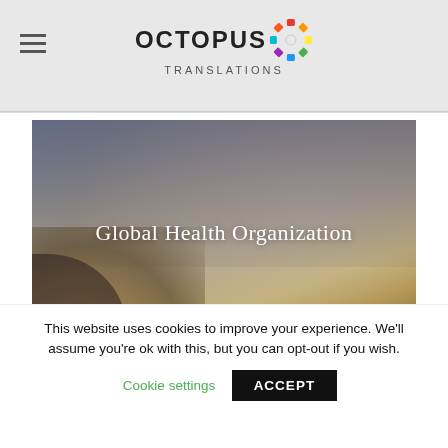OCTOPUS TRANSLATIONS
[Figure (photo): Blurred outdoor photo used as hero banner background for Global Health Organization]
Global Health Organization
This website uses cookies to improve your experience. We'll assume you're ok with this, but you can opt-out if you wish.
Cookie settings   ACCEPT